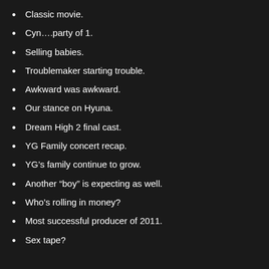Classic movie.
Cyn….party of 1.
Selling babies.
Troublemaker starting trouble.
Awkward was awkward.
Our stance on Hyuna.
Dream High 2 final cast.
YG Family concert recap.
YG’s family continue to grow.
Another “boy” is expecting as well.
Who’s rolling in money?
Most successful producer of 2011.
Sex tape?